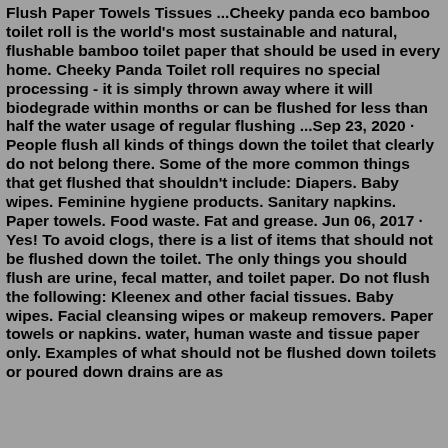Flush Paper Towels Tissues ...Cheeky panda eco bamboo toilet roll is the world's most sustainable and natural, flushable bamboo toilet paper that should be used in every home. Cheeky Panda Toilet roll requires no special processing - it is simply thrown away where it will biodegrade within months or can be flushed for less than half the water usage of regular flushing ...Sep 23, 2020 · People flush all kinds of things down the toilet that clearly do not belong there. Some of the more common things that get flushed that shouldn't include: Diapers. Baby wipes. Feminine hygiene products. Sanitary napkins. Paper towels. Food waste. Fat and grease. Jun 06, 2017 · Yes! To avoid clogs, there is a list of items that should not be flushed down the toilet. The only things you should flush are urine, fecal matter, and toilet paper. Do not flush the following: Kleenex and other facial tissues. Baby wipes. Facial cleansing wipes or makeup removers. Paper towels or napkins. water, human waste and tissue paper only. Examples of what should not be flushed down toilets or poured down drains are as